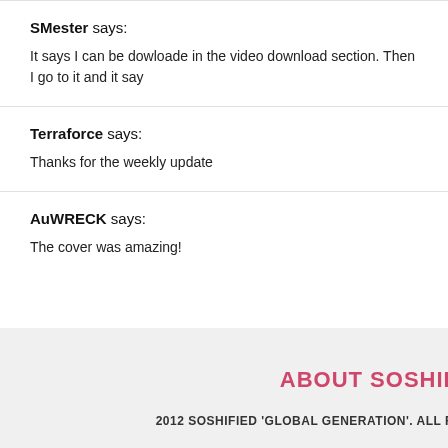SMester says:
It says I can be dowloade in the video download section. Then I go to it and it say
Terraforce says:
Thanks for the weekly update
AuWRECK says:
The cover was amazing!
ABOUT SOSHIF
2012 SOSHIFIED 'GLOBAL GENERATION'. ALL RI